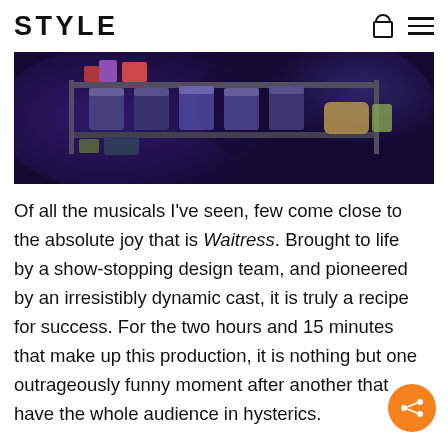STYLE
[Figure (photo): Stage set of the Waitress musical — kitchen shelving unit lit with purple/blue theatrical lighting, with bags and bowls visible on shelves against a dark background]
Of all the musicals I've seen, few come close to the absolute joy that is Waitress. Brought to life by a show-stopping design team, and pioneered by an irresistibly dynamic cast, it is truly a recipe for success. For the two hours and 15 minutes that make up this production, it is nothing but one outrageously funny moment after another that have the whole audience in hysterics.